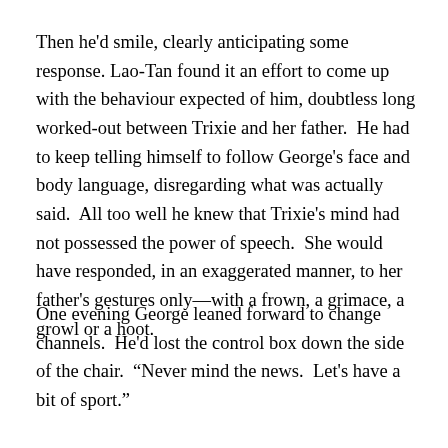Then he'd smile, clearly anticipating some response. Lao-Tan found it an effort to come up with the behaviour expected of him, doubtless long worked-out between Trixie and her father.  He had to keep telling himself to follow George's face and body language, disregarding what was actually said.  All too well he knew that Trixie's mind had not possessed the power of speech.  She would have responded, in an exaggerated manner, to her father's gestures only—with a frown, a grimace, a growl or a hoot.
One evening George leaned forward to change channels.  He'd lost the control box down the side of the chair.  "Never mind the news.  Let's have a bit of sport."